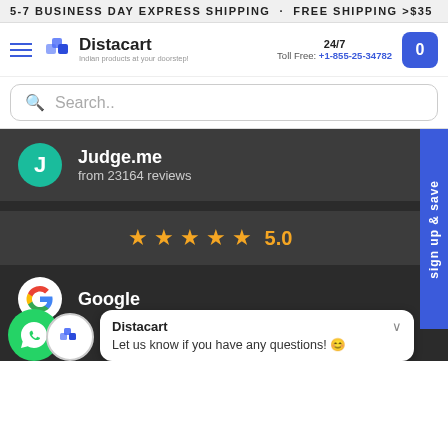5-7 BUSINESS DAY EXPRESS SHIPPING . FREE SHIPPING >$35
[Figure (logo): Distacart logo with hamburger menu, 24/7 Toll Free: +1-855-25-34782, and cart button]
Search..
Judge.me from 23164 reviews
★★★★★ 5.0
Google
sign up & save
Distacart
Let us know if you have any questions! 😊